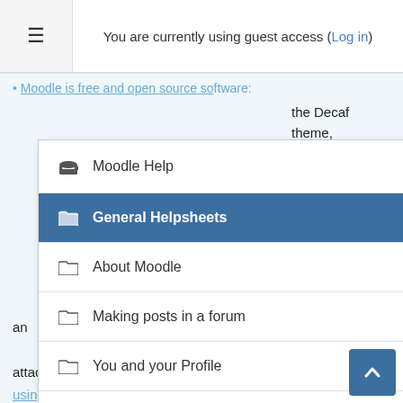You are currently using guest access (Log in)
Moodle is free and open source software:
the Decaf theme, to avoid the scroll of
what do I
'easy' depends g from. use to manage an ills, attachments, using menus, cut and paste, highlighting and simple typing. " is there an easier
[Figure (screenshot): Dropdown navigation menu showing: Moodle Help, General Helpsheets (active/highlighted in blue), About Moodle, Making posts in a forum, You and your Profile, Quizzes, Home, Calendar]
nd Building